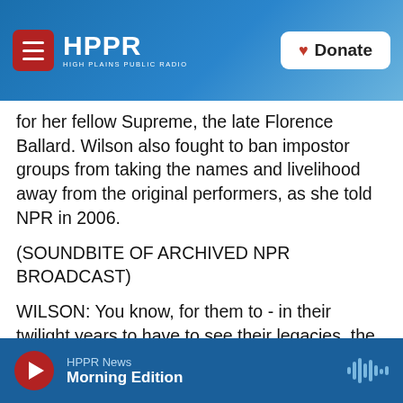HPPR — High Plains Public Radio — Donate
for her fellow Supreme, the late Florence Ballard. Wilson also fought to ban impostor groups from taking the names and livelihood away from the original performers, as she told NPR in 2006.
(SOUNDBITE OF ARCHIVED NPR BROADCAST)
WILSON: You know, for them to - in their twilight years to have to see their legacies, the history that they made being destroyed and just totally people just taking their names.
BLAIR: The late Mary Wilson protecting her fellow artists with the energy and passion of a Supreme.
HPPR News — Morning Edition